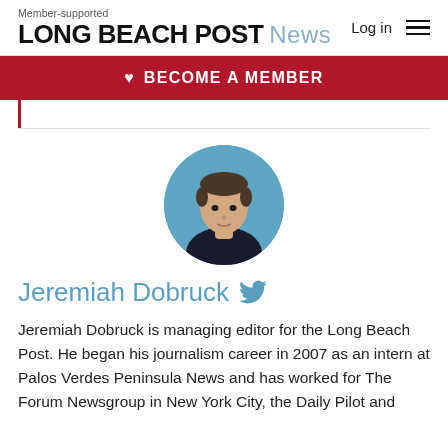Member-supported LONG BEACH POST News
BECOME A MEMBER
Jeremiah Dobruck
[Figure (photo): Circular headshot of Jeremiah Dobruck, a young man with short dark hair wearing a dark shirt, photographed against a blue background.]
Jeremiah Dobruck is managing editor for the Long Beach Post. He began his journalism career in 2007 as an intern at Palos Verdes Peninsula News and has worked for The Forum Newsgroup in New York City, the Daily Pilot and